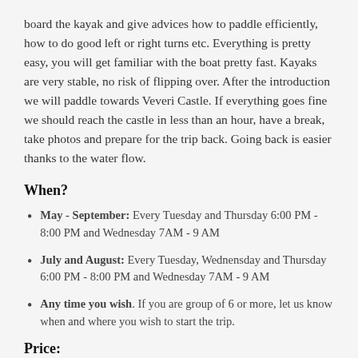board the kayak and give advices how to paddle efficiently, how to do good left or right turns etc. Everything is pretty easy, you will get familiar with the boat pretty fast. Kayaks are very stable, no risk of flipping over. After the introduction we will paddle towards Veveri Castle. If everything goes fine we should reach the castle in less than an hour, have a break, take photos and prepare for the trip back. Going back is easier thanks to the water flow.
When?
May - September: Every Tuesday and Thursday 6:00 PM - 8:00 PM and Wednesday 7AM - 9 AM
July and August: Every Tuesday, Wednensday and Thursday 6:00 PM - 8:00 PM and Wednesday 7AM - 9 AM
Any time you wish. If you are group of 6 or more, let us know when and where you wish to start the trip.
Price: